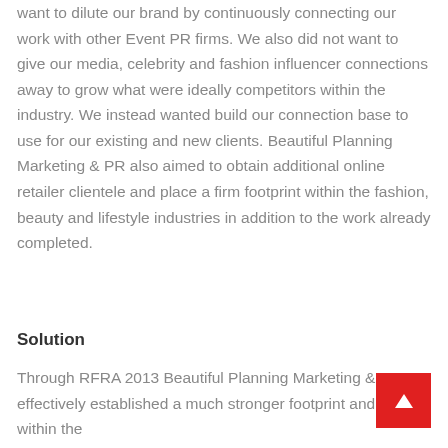want to dilute our brand by continuously connecting our work with other Event PR firms. We also did not want to give our media, celebrity and fashion influencer connections away to grow what were ideally competitors within the industry. We instead wanted build our connection base to use for our existing and new clients. Beautiful Planning Marketing & PR also aimed to obtain additional online retailer clientele and place a firm footprint within the fashion, beauty and lifestyle industries in addition to the work already completed.
Solution
Through RFRA 2013 Beautiful Planning Marketing & PR effectively established a much stronger footprint and name within the